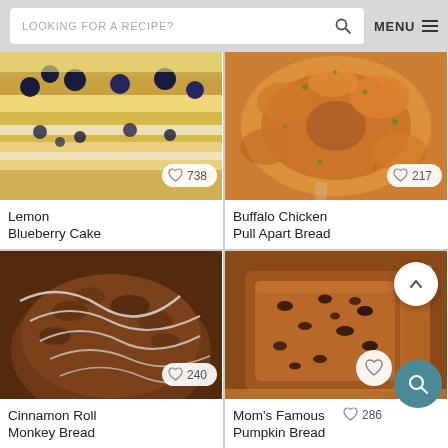LOOKING FOR A RECIPE? | MENU
[Figure (photo): Lemon Blueberry Cake - layered yellow sponge cake with blueberries and cream]
738
Lemon Blueberry Cake
[Figure (photo): Buffalo Chicken Pull Apart Bread - golden cheesy bread ring with herbs]
217
Buffalo Chicken Pull Apart Bread
[Figure (photo): Cinnamon Roll Monkey Bread - glazed bread with pecans and white icing drizzle]
240
Cinnamon Roll Monkey Bread
[Figure (photo): Mom's Famous Pumpkin Bread - sliced dark brown pumpkin bread with chocolate chips]
80
286
Mom's Famous Pumpkin Bread